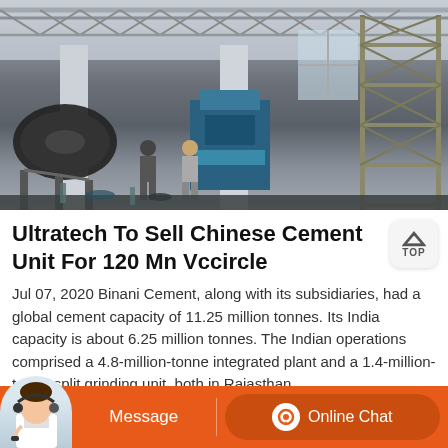[Figure (photo): Industrial factory interior showing heavy machinery including a large rotary drum/cylinder on the left, a blue industrial machine in the center, metal scaffolding on the right, and workers on the factory floor with a metal truss ceiling above.]
Ultratech To Sell Chinese Cement Unit For 120 Mn Vccircle
Jul 07, 2020 Binani Cement, along with its subsidiaries, had a global cement capacity of 11.25 million tonnes. Its India capacity is about 6.25 million tonnes. The Indian operations comprised a 4.8-million-tonne integrated plant and a 1.4-million-tonne split grinding unit, both in Rajasthan.